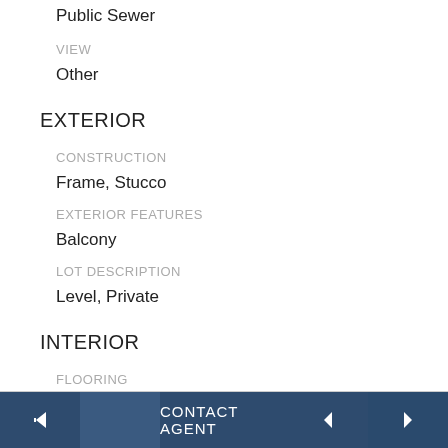Public Sewer
VIEW
Other
EXTERIOR
CONSTRUCTION
Frame, Stucco
EXTERIOR FEATURES
Balcony
LOT DESCRIPTION
Level, Private
INTERIOR
FLOORING
CONTACT AGENT